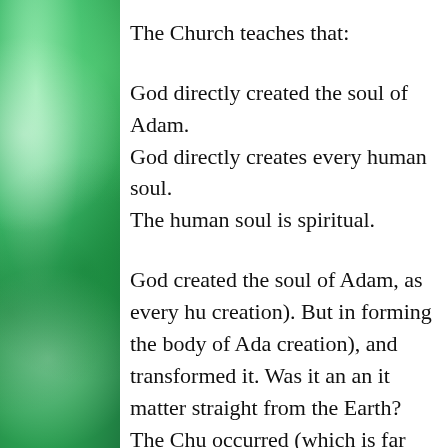The Church teaches that:
God directly created the soul of Adam.
God directly creates every human soul.
The human soul is spiritual.
God created the soul of Adam, as every hu creation). But in forming the body of Ada creation), and transformed it. Was it an an it matter straight from the Earth? The Chu occurred (which is far from proved, and e evolution of the body, not of the soul. No divine intervention, by God’s creation of a